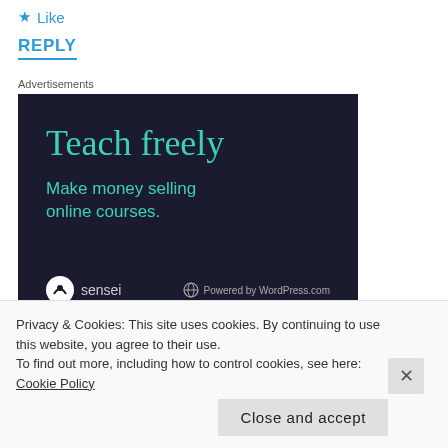★ Like
REPLY
Advertisements
[Figure (infographic): Dark navy advertisement banner for Sensei / WordPress.com with teal text reading 'Teach freely' and 'Make money selling online courses.' with Sensei logo and Powered by WordPress.com at bottom.]
Privacy & Cookies: This site uses cookies. By continuing to use this website, you agree to their use.
To find out more, including how to control cookies, see here: Cookie Policy
Close and accept